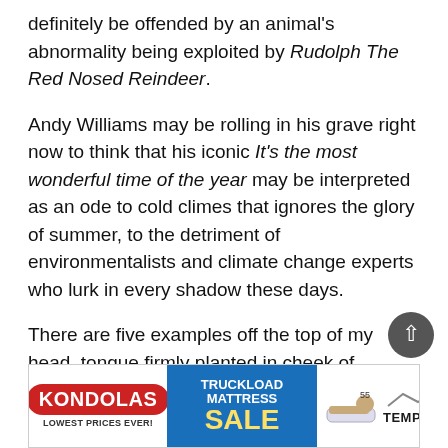definitely be offended by an animal's abnormality being exploited by Rudolph The Red Nosed Reindeer.
Andy Williams may be rolling in his grave right now to think that his iconic It's the most wonderful time of the year may be interpreted as an ode to cold climes that ignores the glory of summer, to the detriment of environmentalists and climate change experts who lurk in every shadow these days.
There are five examples off the top of my head, tongue firmly planted in cheek of course, but there must be so many more offending lines in Christmas songs, as producing them has turned into an industry of its own. This MeToo radio ban
[Figure (infographic): Advertisement for Kondolas Truckload Mattress Sale featuring Tempur-Pedic brand. Kondolas logo in red oval, 'LOWEST PRICES EVER!' tagline, blue section with 'TRUCKLOAD MATTRESS SALE' text in yellow, image of a person sleeping on a mattress, Tempur-Pedic logo with mountain graphic.]